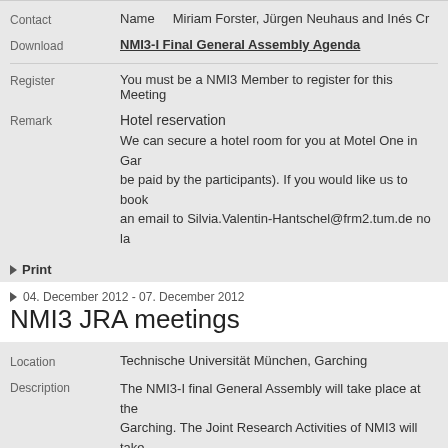Contact   Name   Miriam Forster, Jurgen Neuhaus and Ines Cr...
Download   NMI3-I Final General Assembly Agenda
Register   You must be a NMI3 Member to register for this Meeting...
Remark   Hotel reservation
We can secure a hotel room for you at Motel One in Gar... be paid by the participants). If you would like us to book... an email to Silvia.Valentin-Hantschel@frm2.tum.de no la...
Print
04. December 2012 - 07. December 2012
NMI3 JRA meetings
Location   Technische Universität München, Garching
Description   The NMI3-I final General Assembly will take place at the... Garching. The Joint Research Activities of NMI3 will take... meetings.
Download   NMI3-I Final General Assembly- JRA meetings Agen...